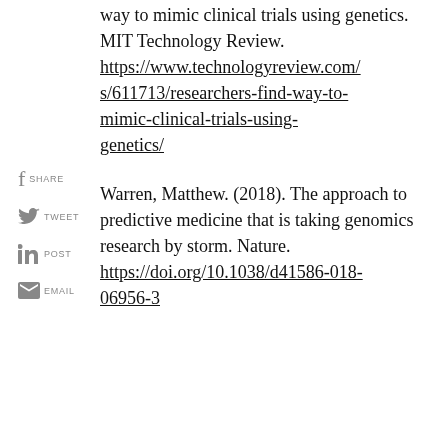way to mimic clinical trials using genetics. MIT Technology Review. https://www.technologyreview.com/s/611713/researchers-find-way-to-mimic-clinical-trials-using-genetics/
Warren, Matthew. (2018). The approach to predictive medicine that is taking genomics research by storm. Nature. https://doi.org/10.1038/d41586-018-06956-3